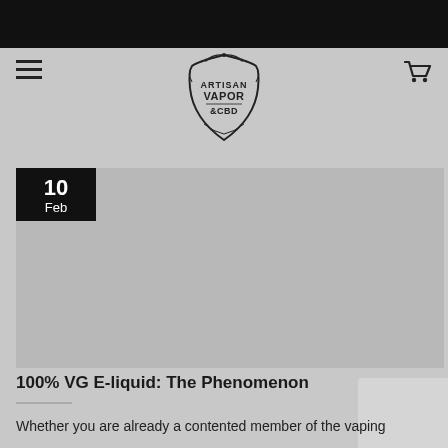[Figure (logo): Artisan Vapor & CBD ornate badge logo in black]
100% VG E-liquid: The Phenomenon
Whether you are already a contented member of the vaping